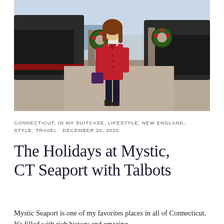[Figure (photo): A woman in a red coat walking at Mystic Seaport harbor with ships and Christmas wreaths in the background]
CONNECTICUT, IN MY SUITCASE, LIFESTYLE, NEW ENGLAND, STYLE, TRAVEL · DECEMBER 20, 2020
The Holidays at Mystic, CT Seaport with Talbots
Mystic Seaport is one of my favorites places in all of Connecticut. It's filled with rich history and amazing